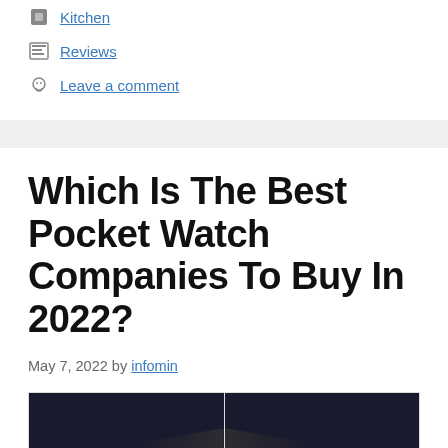Kitchen
Reviews
Leave a comment
Which Is The Best Pocket Watch Companies To Buy In 2022?
May 7, 2022 by infomin
[Figure (photo): Two dark-themed product images shown side by side, partially visible at bottom of page]